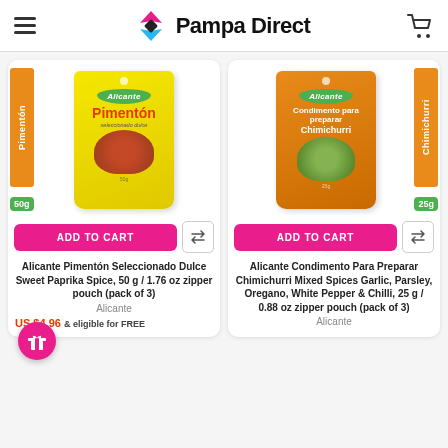Pampa Direct
[Figure (photo): Alicante Pimentón Seleccionado Dulce 50g yellow package]
[Figure (photo): Alicante Condimento para preparar Chimichurri 25g orange package]
ADD TO CART
ADD TO CART
Alicante Pimentón Seleccionado Dulce Sweet Paprika Spice, 50 g / 1.76 oz zipper pouch (pack of 3)
Alicante Condimento Para Preparar Chimichurri Mixed Spices Garlic, Parsley, Oregano, White Pepper & Chilli, 25 g / 0.88 oz zipper pouch (pack of 3)
Alicante
Alicante
US $4.96 & eligible for FREE